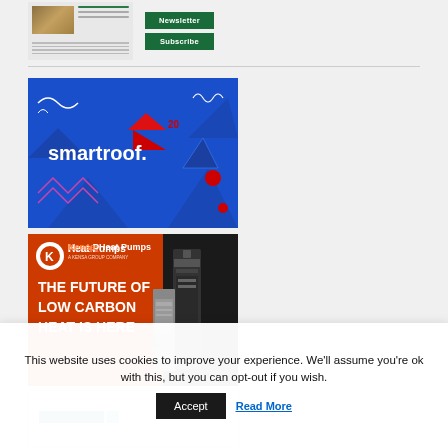[Figure (screenshot): Newsletter thumbnail image showing a landscape photo and text lines]
[Figure (screenshot): Newsletter and Subscribe green buttons]
[Figure (illustration): Smartroof advertisement banner with blue background showing smartroof. brand name with roof icon and '20' superscript]
[Figure (illustration): Kensa Heat Pumps advertisement with orange/dark background showing heat pump equipment and text: THE FUTURE OF LOW CARBON HEAT IS HERE]
[Figure (screenshot): Partial third advertisement with white background and teal/green color bar]
This website uses cookies to improve your experience. We'll assume you're ok with this, but you can opt-out if you wish.
Accept
Read More